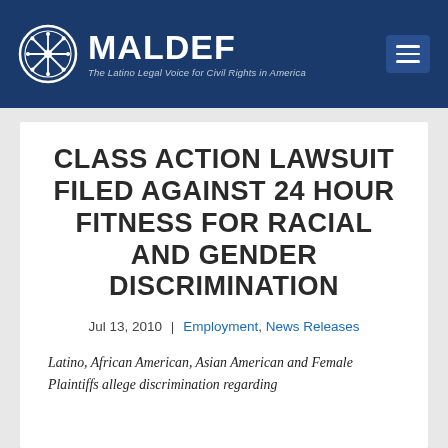MALDEF – The Latino Legal Voice for Civil Rights in America
CLASS ACTION LAWSUIT FILED AGAINST 24 HOUR FITNESS FOR RACIAL AND GENDER DISCRIMINATION
Jul 13, 2010 | Employment, News Releases
Latino, African American, Asian American and Female Plaintiffs allege discrimination regarding